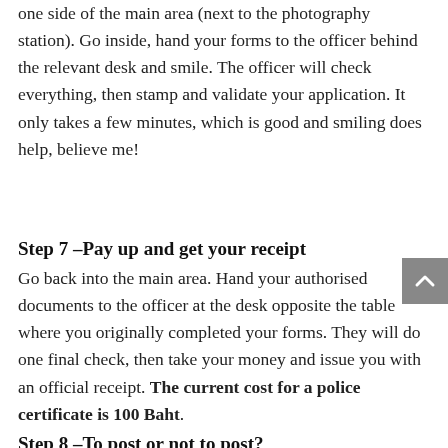one side of the main area (next to the photography station). Go inside, hand your forms to the officer behind the relevant desk and smile. The officer will check everything, then stamp and validate your application. It only takes a few minutes, which is good and smiling does help, believe me!
Step 7 –Pay up and get your receipt
Go back into the main area. Hand your authorised documents to the officer at the desk opposite the table where you originally completed your forms. They will do one final check, then take your money and issue you with an official receipt. The current cost for a police certificate is 100 Baht.
Step 8 –To post or not to post?